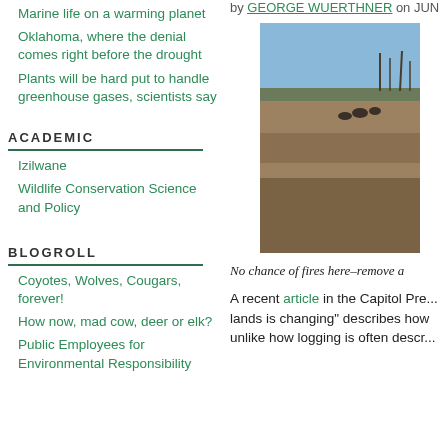ACADEMIC
Izilwane
Wildlife Conservation Science and Policy
BLOGROLL
Coyotes, Wolves, Cougars, forever!
How now, mad cow, deer or elk?
Public Employees for Environmental Responsibility
by GEORGE WUERTHNER on JUN
[Figure (photo): Outdoor landscape photo showing bare ground with sparse trees and a blue sky, suggesting overgrazed or fire-cleared land.]
No chance of fires here–remove a
A recent article in the Capitol Pre... lands is changing" describes how unlike how logging is often descr...